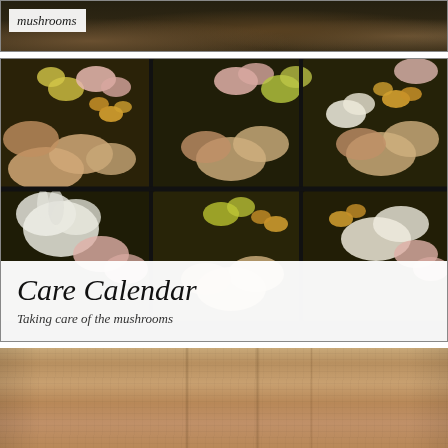[Figure (photo): Partial view of a photograph showing mushrooms with a caption overlay reading 'mushrooms' in italic text on a white background strip, against a dark earthy background.]
[Figure (photo): Photograph of various colorful mushrooms arranged in black plastic trays or containers, showing multiple varieties including white, pink, yellow, and brown mushrooms. Overlaid at the bottom is a white semi-transparent box containing the title 'Care Calendar' in large italic serif font and subtitle 'Taking care of the mushrooms' in smaller italic text.]
Care Calendar
Taking care of the mushrooms
[Figure (photo): Close-up photograph of what appears to be a brown paper bag, showing the texture and folds of the paper material in warm tan/brown tones.]